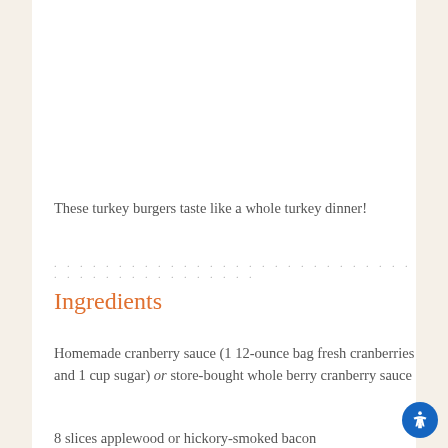These turkey burgers taste like a whole turkey dinner!
Ingredients
Homemade cranberry sauce (1 12-ounce bag fresh cranberries and 1 cup sugar) or store-bought whole berry cranberry sauce
8 slices applewood or hickory-smoked bacon
1 1/2 pounds ground turkey
3 tablespoons flat leaf parsley, chopped